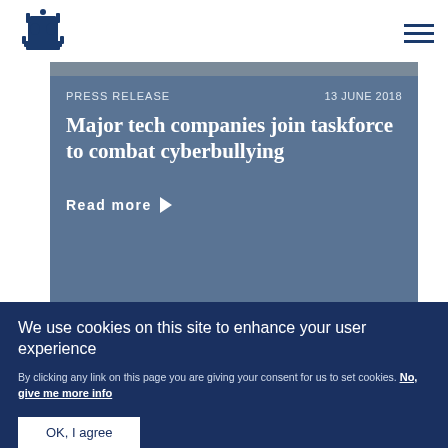[Figure (logo): UK Government royal crest / coat of arms logo in dark blue]
[Figure (other): Hamburger menu icon (three horizontal lines) in dark blue]
PRESS RELEASE
13 JUNE 2018
Major tech companies join taskforce to combat cyberbullying
Read more ▶
We use cookies on this site to enhance your user experience
By clicking any link on this page you are giving your consent for us to set cookies. No, give me more info
OK, I agree